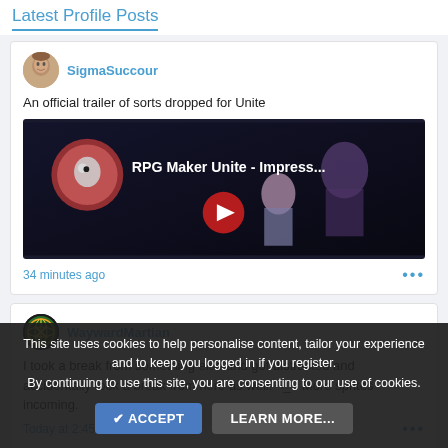Latest Profile Posts
SigmaSuccour
An official trailer of sorts dropped for Unite
[Figure (screenshot): YouTube video thumbnail for RPG Maker Unite - Impress... showing anime-style characters on dark background with play button]
34 minutes ago
WaywardMartian
I took a break from something else and got distracted and accidentally took a break from here as well. ¬_¬ More sprites incoming.
Today at 2:45 PM
This site uses cookies to help personalise content, tailor your experience and to keep you logged in if you register.
By continuing to use this site, you are consenting to our use of cookies.